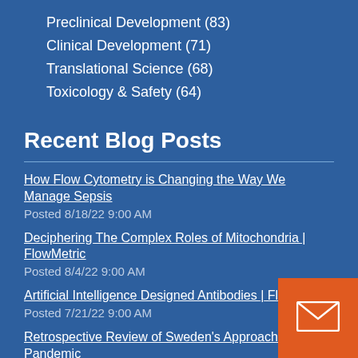Preclinical Development (83)
Clinical Development (71)
Translational Science (68)
Toxicology & Safety (64)
Recent Blog Posts
How Flow Cytometry is Changing the Way We Manage Sepsis
Posted 8/18/22 9:00 AM
Deciphering The Complex Roles of Mitochondria | FlowMetric
Posted 8/4/22 9:00 AM
Artificial Intelligence Designed Antibodies | FlowMetric
Posted 7/21/22 9:00 AM
Retrospective Review of Sweden's Approach to Pandemic